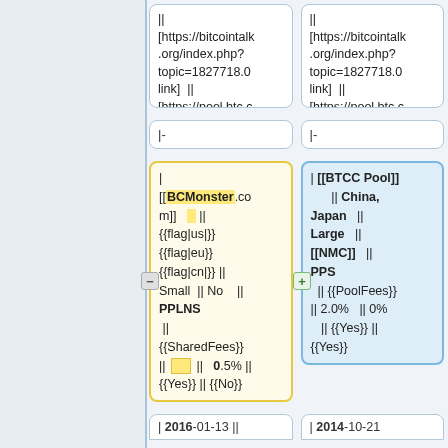|| [https://bitcointalk.org/index.php?topic=1827718.0 link] || [https://pool.btc.com/ link]
|| [https://bitcointalk.org/index.php?topic=1827718.0 link] || [https://pool.btc.com/ link]
|-
|-
| [[BCMonster.com]] || {{flag|us|}} {{flag|eu}} {{flag|cn|}} || Small || No || PPLNS || {{SharedFees}} || [square] || 0.5% || {{Yes}} || {{No}}
| [[BTCC Pool]] || China, Japan || Large || [[NMC]] || PPS || {{PoolFees}} || 2.0% || 0% || {{Yes}} || {{Yes}}
| 2016-01-13 ||
| 2014-10-21